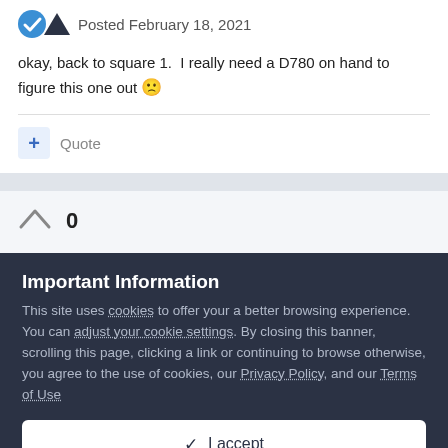Posted February 18, 2021
okay, back to square 1.  I really need a D780 on hand to figure this one out 🙁
+ Quote
0
Important Information
This site uses cookies to offer your a better browsing experience. You can adjust your cookie settings. By closing this banner, scrolling this page, clicking a link or continuing to browse otherwise, you agree to the use of cookies, our Privacy Policy, and our Terms of Use
✓ I accept